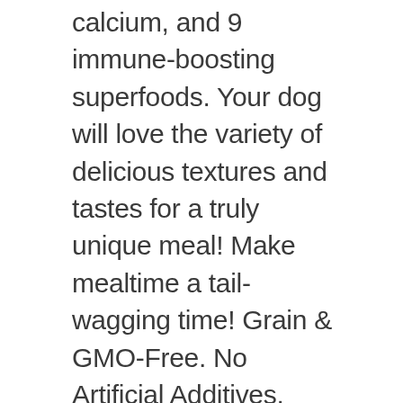calcium, and 9 immune-boosting superfoods. Your dog will love the variety of delicious textures and tastes for a truly unique meal! Make mealtime a tail-wagging time! Grain & GMO-Free. No Artificial Additives. Made in USA. Hand-selected by the Pet Beastro to make raw diets easy and nutritious!
Makes 8 individual 1lb meals.
Ingredients: Broccoli, Green Beans, Bone Broth, Red and Green Bell Pepper, Cabbage,